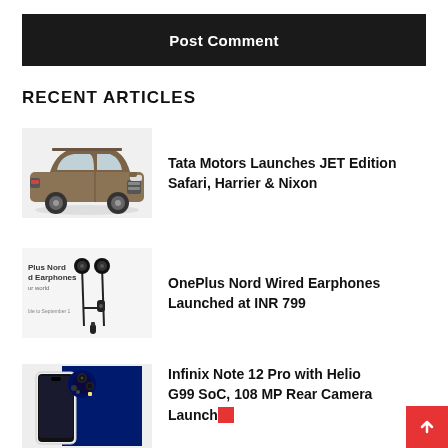Notify me of follow-up comments by email.
Post Comment
RECENT ARTICLES
[Figure (photo): Tata Motors SUV car in bronze/gold color, side-front view]
Tata Motors Launches JET Edition Safari, Harrier & Nixon
[Figure (photo): OnePlus Nord Wired Earphones product photo on light background]
OnePlus Nord Wired Earphones Launched at INR 799
[Figure (photo): Infinix Note 12 Pro phone with blue and black design]
Infinix Note 12 Pro with Helio G99 SoC, 108 MP Rear Camera Launched